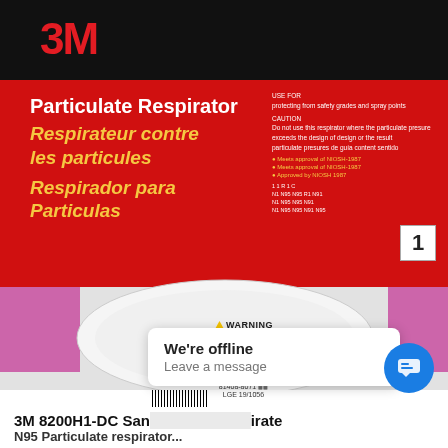[Figure (photo): 3M Particulate Respirator product package showing red and black packaging with 3M logo, text in English, French, and Spanish reading 'Particulate Respirator', 'Respirateur contre les particules', 'Respirador para Particulas'. Below the packaging, a white N95 respirator mask is visible with warning labels printed on it.]
We're offline
Leave a message
3M 8200H1-DC Sand... rator
N95 Particulate...